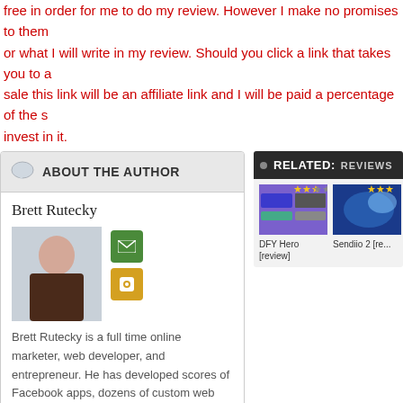free in order for me to do my review. However I make no promises to them or what I will write in my review. Should you click a link that takes you to a sale this link will be an affiliate link and I will be paid a percentage of the s invest in it.
ABOUT THE AUTHOR
Brett Rutecky
[Figure (photo): Photo of Brett Rutecky, a man in a dark shirt]
Brett Rutecky is a full time online marketer, web developer, and entrepreneur. He has developed scores of Facebook apps, dozens of custom web sites and hundreds of scripts.
More articles by Brett Rutecky »
RELATED: REVIEWS
[Figure (screenshot): DFY Hero review thumbnail with star rating]
DFY Hero [review]
[Figure (screenshot): Sendiio 2 review thumbnail with star rating]
Sendiio 2 [re...